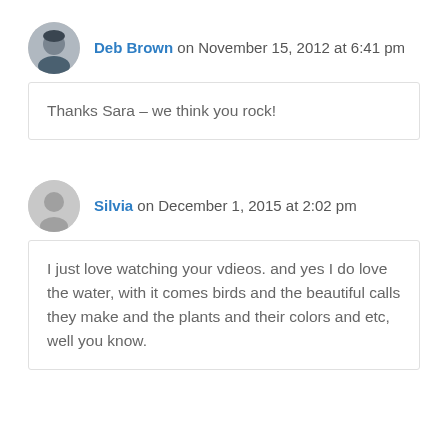Deb Brown on November 15, 2012 at 6:41 pm
Thanks Sara – we think you rock!
Silvia on December 1, 2015 at 2:02 pm
I just love watching your vdieos. and yes I do love the water, with it comes birds and the beautiful calls they make and the plants and their colors and etc, well you know.